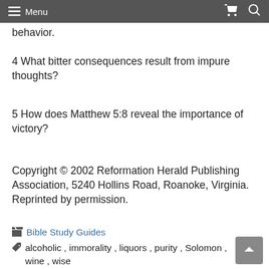Menu
behavior.
4 What bitter consequences result from impure thoughts?
5 How does Matthew 5:8 reveal the importance of victory?
Copyright © 2002 Reformation Herald Publishing Association, 5240 Hollins Road, Roanoke, Virginia. Reprinted by permission.
Bible Study Guides
alcoholic, immorality, liquors, purity, Solomon, wine, wise